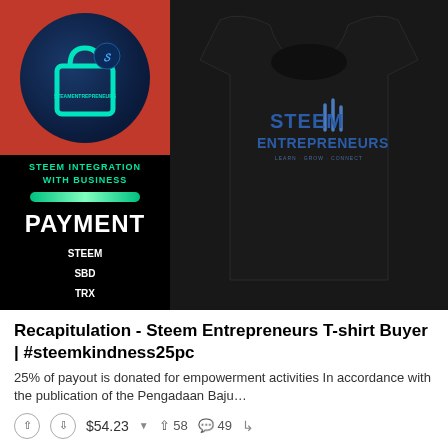[Figure (photo): Composite image: left side shows a black panel with red top section containing a shopping bag logo on a dark blue circle, and text 'STEEM INTEGRATION WITH BUSINESS', a green gradient bar, 'PAYMENT' in white bold, and payment options STEEM, SBD, TRX. Right side shows a man wearing a black t-shirt with 'STEEM ENTREPRENEURS' logo in blue text.]
Recapitulation - Steem Entrepreneurs T-shirt Buyer | #steemkindness25pc
25% of payout is donated for empowerment activities In accordance with the publication of the Pengadaan Baju…
$54.23  58  49